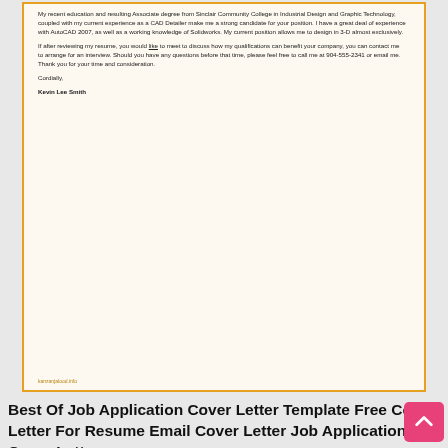[Figure (screenshot): Screenshot of a cover letter document showing closing paragraphs, 'Cordially,' closing, and 'Kevin Lee Smith' signature, with orange border and watermark 'kanzanjalood.info']
Best Of Job Application Cover Letter Template Free Cover Letter For Resume Email Cover Letter Job Application Cover Letter